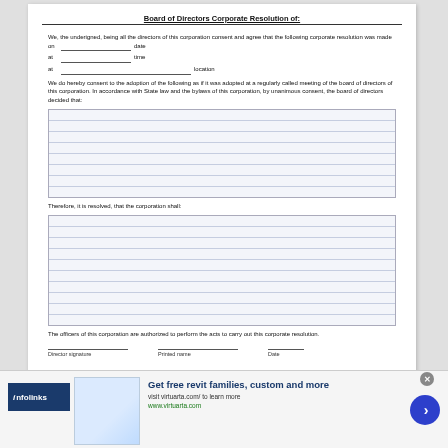Board of Directors Corporate Resolution of:
We, the underigned, being all the directors of this corporation consent and agree that the following corporate resolution was made
on_________________ date
at_________________ time
at_________________________________ location
We do hereby consent to the adoption of the following as if it was adopted at a regularly called meeting of the board of directors of this corporation.  In accordance with State law and the bylaws of this corporation, by unanimous consent, the board of directors decided that:
Therefore, it is resolved, that the corporation shall:
The officers of this corporation are authorized to perform the acts to carry out this corporate resolution.
Director signature          Printed name          Date